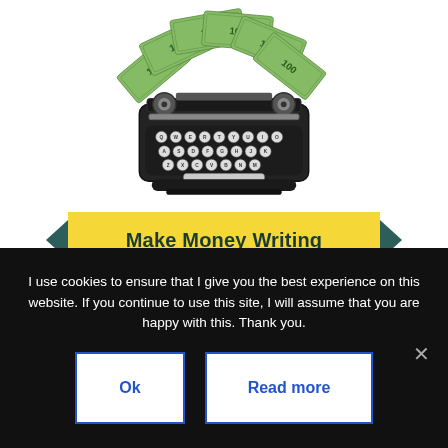[Figure (illustration): A vintage black typewriter with fan of US $100 dollar bills inserted at the top, and a yellow banner below reading 'Make Money Writing' with dark teal arrow accents on each side.]
I use cookies to ensure that I give you the best experience on this website. If you continue to use this site, I will assume that you are happy with this. Thank you.